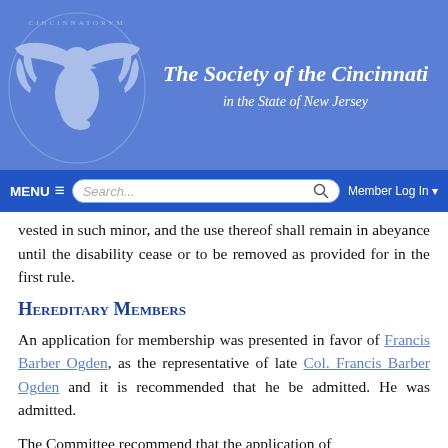[Figure (logo): The Society of the Cincinnati in the State of New Jersey website header with eagle logo and blue background]
The Society of the Cincinnati in the State of New Jersey
vested in such minor, and the use thereof shall remain in abeyance until the disability cease or to be removed as provided for in the first rule.
Hereditary Members
An application for membership was presented in favor of Francis Barber Ogden, as the representative of late Col. Francis Barber Ogden and it is recommended that he be admitted. He was admitted.
The Committee recommend that the application of